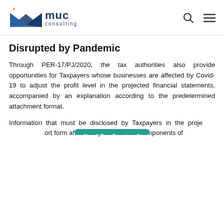muc consulting
Disrupted by Pandemic
Through PER-17/PJ/2020, the tax authorities also provide opportunities for Taxpayers whose businesses are affected by Covid-19 to adjust the profit level in the projected financial statements, accompanied by an explanation according to the predetermined attachment format.
Information that must be disclosed by Taxpayers in the projected financial report form affected by Covid-19 is: components of